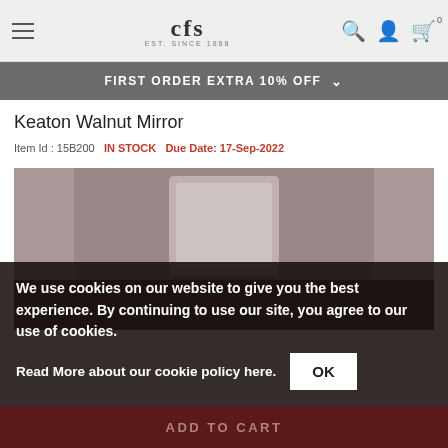CFS EST. SINCE 1888 — Navigation bar with hamburger menu, logo, search, account, and cart icons
FIRST ORDER EXTRA 10% OFF
Keaton Walnut Mirror
Item Id : 15B200   IN STOCK   Due Date: 17-Sep-2022
[Figure (photo): Product photo of a walnut mirror, showing a rectangular framed mirror against a dark background]
We use cookies on our website to give you the best experience. By continuing to use our site, you agree to our use of cookies.
Read More about our cookie policy here.
ADD TO CART